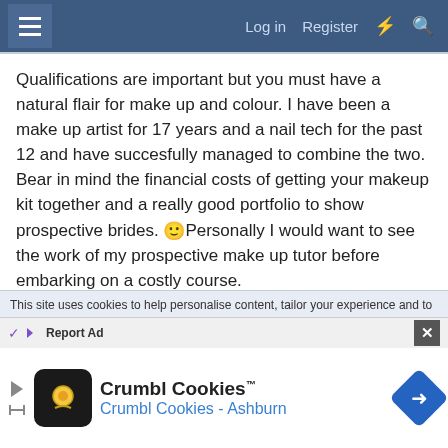Log in  Register
Qualifications are important but you must have a natural flair for make up and colour. I have been a make up artist for 17 years and a nail tech for the past 12 and have succesfully managed to combine the two. Bear in mind the financial costs of getting your makeup kit together and a really good portfolio to show prospective brides. 🙂Personally I would want to see the work of my prospective make up tutor before embarking on a costly course.
Good luck to you in your decision X
Reply
This site uses cookies to help personalise content, tailor your experience and to
[Figure (screenshot): Advertisement banner for Crumbl Cookies showing logo and text 'Crumbl Cookies - Ashburn']